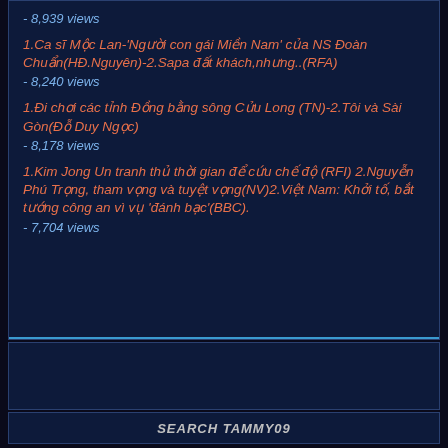- 8,939 views
1.Ca sĩ Mộc Lan-'Người con gái Miền Nam' của NS Đoàn Chuẩn(HĐ.Nguyên)-2.Sapa đất khách,nhưng..(RFA)
- 8,240 views
1.Đi chơi các tỉnh Đồng bằng sông Cửu Long (TN)-2.Tôi và Sài Gòn(Đỗ Duy Ngọc)
- 8,178 views
1.Kim Jong Un tranh thủ thời gian để cứu chế độ (RFI) 2.Nguyễn Phú Trọng, tham vọng và tuyệt vọng(NV)2.Việt Nam: Khởi tố, bắt tướng công an vì vụ 'đánh bạc'(BBC).
- 7,704 views
SEARCH TAMMY09